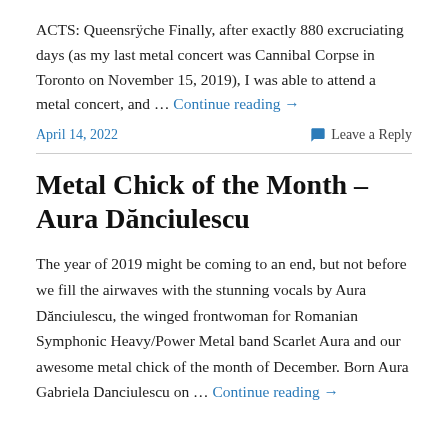ACTS: Queensrÿche Finally, after exactly 880 excruciating days (as my last metal concert was Cannibal Corpse in Toronto on November 15, 2019), I was able to attend a metal concert, and … Continue reading →
April 14, 2022
Leave a Reply
Metal Chick of the Month – Aura Dănciulescu
The year of 2019 might be coming to an end, but not before we fill the airwaves with the stunning vocals by Aura Dănciulescu, the winged frontwoman for Romanian Symphonic Heavy/Power Metal band Scarlet Aura and our awesome metal chick of the month of December. Born Aura Gabriela Danciulescu on … Continue reading →